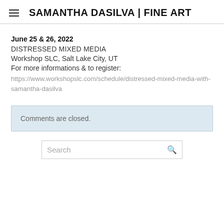SAMANTHA DASILVA | FINE ART
June 25 & 26, 2022
DISTRESSED MIXED MEDIA
Workshop SLC, Salt Lake City, UT
For more informations & to register:
https://www.workshopslc.com/schedule/distressed-mixed-media-with-samantha-dasilva
Comments are closed.
Search